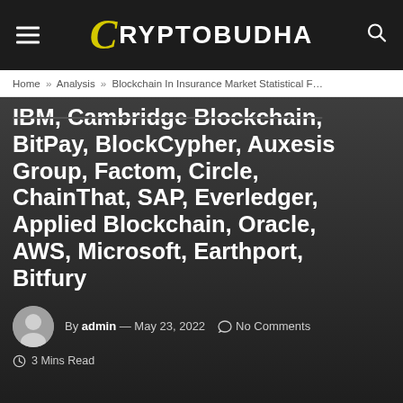CRYPTOBUDHA
Home » Analysis » Blockchain In Insurance Market Statistical F...
IBM, Cambridge Blockchain, BitPay, BlockCypher, Auxesis Group, Factom, Circle, ChainThat, SAP, Everledger, Applied Blockchain, Oracle, AWS, Microsoft, Earthport, Bitfury
By admin — May 23, 2022   No Comments
3 Mins Read